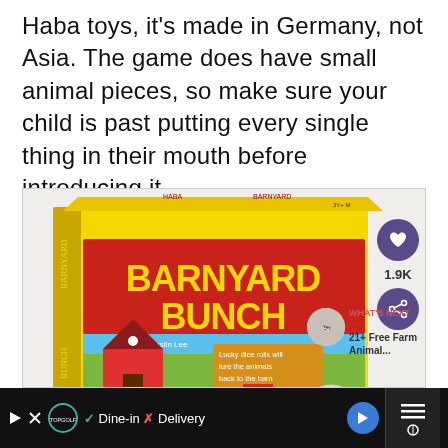Haba toys, it's made in Germany, not Asia. The game does have small animal pieces, so make sure your child is past putting every single thing in their mouth before introducing it.
[Figure (photo): Photo of the Barnyard Bunch board game box with yellow background, showing farm animals and barn on the cover. Social share buttons (heart icon with 1.9K count, share icon) visible on the right side. 'WHAT'S NEXT' teaser for '21+ Free Farm Animal...' visible in bottom right.]
[Figure (screenshot): Black advertisement bar at the bottom showing Topgolf logo, checkmark 'Dine-in' and X 'Delivery' text, blue diamond arrow button, and close button with bars on the right.]